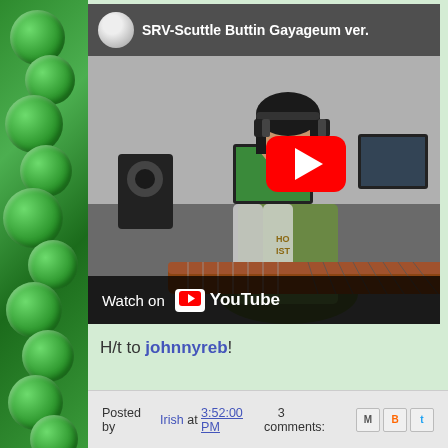[Figure (screenshot): YouTube video thumbnail showing a woman playing a Gayageum instrument in a studio setting. Title reads 'SRV-Scuttle Buttin Gayageum ver.' with a YouTube play button overlay and 'Watch on YouTube' bar at the bottom.]
H/t to johnnyreb!
Posted by Irish at 3:52:00 PM    3 comments: